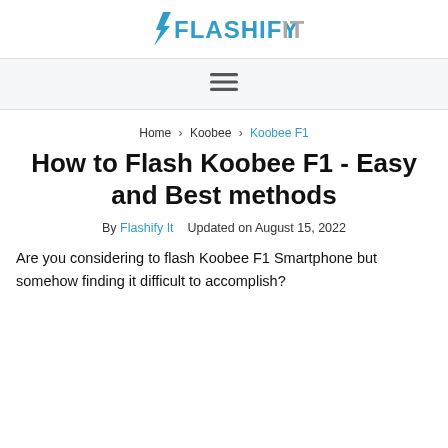FlashifyIt
[Figure (logo): FlashifyIt logo with lightning bolt icon and stylized text in blue and gray]
[Figure (other): Hamburger menu icon with three horizontal lines]
Home > Koobee > Koobee F1
How to Flash Koobee F1 - Easy and Best methods
By Flashify It   Updated on August 15, 2022
Are you considering to flash Koobee F1 Smartphone but somehow finding it difficult to accomplish?